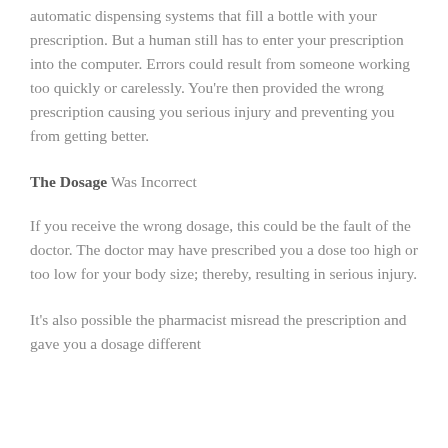automatic dispensing systems that fill a bottle with your prescription. But a human still has to enter your prescription into the computer. Errors could result from someone working too quickly or carelessly. You're then provided the wrong prescription causing you serious injury and preventing you from getting better.
The Dosage Was Incorrect
If you receive the wrong dosage, this could be the fault of the doctor. The doctor may have prescribed you a dose too high or too low for your body size; thereby, resulting in serious injury.
It's also possible the pharmacist misread the prescription and gave you a dosage different